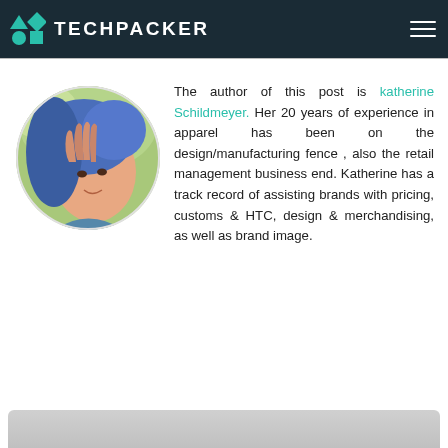TECHPACKER
[Figure (photo): Circular profile photo of katherine Schildmeyer, a woman with blue-streaked dark hair, hand near face, smiling, outdoor/nature background]
The author of this post is katherine Schildmeyer. Her 20 years of experience in apparel has been on the design/manufacturing fence , also the retail management business end. Katherine has a track record of assisting brands with pricing, customs & HTC, design & merchandising, as well as brand image.
[Figure (photo): Partial bottom strip of another image, light gray background, partially visible]